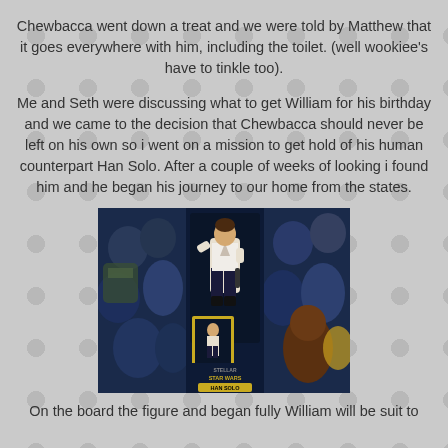Chewbacca went down a treat and we were told by Matthew that it goes everywhere with him, including the toilet. (well wookiee's have to tinkle too).
Me and Seth were discussing what to get William for his birthday and we came to the decision that Chewbacca should never be left on his own so i went on a mission to get hold of his human counterpart Han Solo. After a couple of weeks of looking i found him and he began his journey to our home from the states.
[Figure (photo): A Han Solo action figure in packaging, showing the Star Wars Stellar Han Solo figure in a dark blue box with Star Wars characters artwork on the sides.]
On the board the figure and began fully William will be suit to